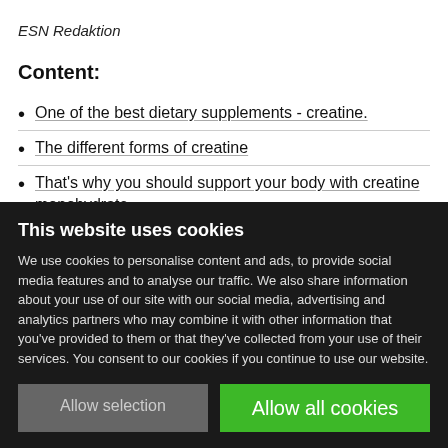ESN Redaktion
Content:
One of the best dietary supplements - creatine.
The different forms of creatine
That's why you should support your body with creatine monohydrate
This website uses cookies
We use cookies to personalise content and ads, to provide social media features and to analyse our traffic. We also share information about your use of our site with our social media, advertising and analytics partners who may combine it with other information that you've provided to them or that they've collected from your use of their services. You consent to our cookies if you continue to use our website.
Allow selection
Allow all cookies